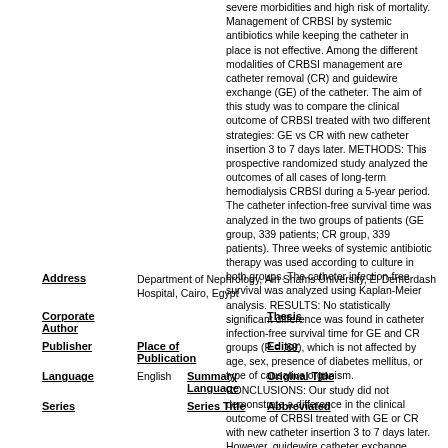severe morbidities and high risk of mortality. Management of CRBSI by systemic antibiotics while keeping the catheter in place is not effective. Among the different modalities of CRBSI management are catheter removal (CR) and guidewire exchange (GE) of the catheter. The aim of this study was to compare the clinical outcome of CRBSI treated with two different strategies: GE vs CR with new catheter insertion 3 to 7 days later. METHODS: This prospective randomized study analyzed the outcomes of all cases of long-term hemodialysis CRBSI during a 5-year period. The catheter infection-free survival time was analyzed in the two groups of patients (GE group, 339 patients; CR group, 339 patients). Three weeks of systemic antibiotic therapy was used according to culture in both groups. The catheter infection-free survival was analyzed using Kaplan-Meier analysis. RESULTS: No statistically significant difference was found in catheter infection-free survival time for GE and CR groups (P = .69), which is not affected by age, sex, presence of diabetes mellitus, or type of causative organism. CONCLUSIONS: Our study did not demonstrate a difference in the clinical outcome of CRBSI treated with GE or CR with new catheter insertion 3 to 7 days later. However, guidewire catheter exchange saves veins for future access, reduces the cost and number of procedures, and avoids complications of new venipuncture.
| Field | Value | Field2 | Value2 |
| --- | --- | --- | --- |
| Address | Department of Nephrology, Ain Shams University, El Demerdash Hospital, Cairo, Egypt |  |  |
| Corporate Author |  | Thesis |  |
| Publisher |  | Place of Publication | Editor |
| Language | English | Summary Language | Original Title |
| Series |  | Series Title | Abbreviated |